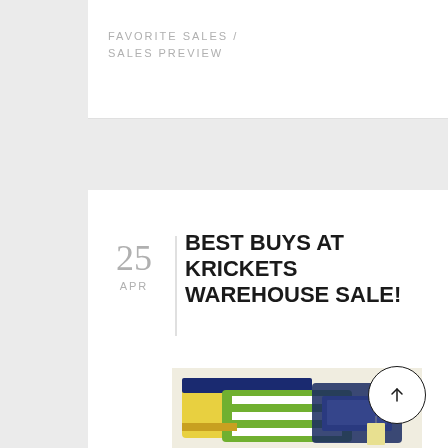FAVORITE SALES / SALES PREVIEW
BEST BUYS AT KRICKETS WAREHOUSE SALE!
25 APR
[Figure (photo): Folded children's clothing items including yellow, blue and green striped shirts stacked together]